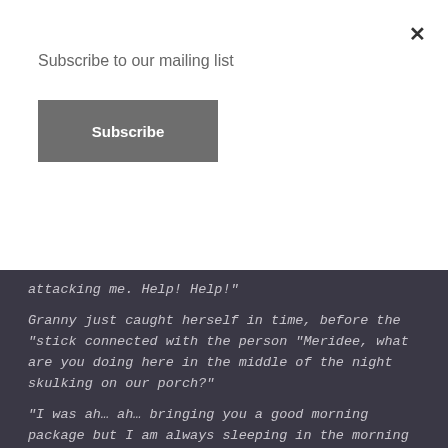Subscribe to our mailing list
Subscribe
attacking me. Help! Help!"
Granny just caught herself in time, before the “stick connected with the person “Meridee, what are you doing here in the middle of the night skulking on our porch?"
“I was ah… ah… bringing you a good morning package but I am always sleeping in the morning so I did it at night. See, I left me next door too. I did it for all my guests. If you look I left fresh